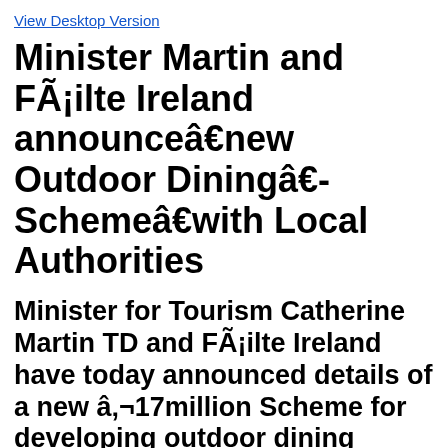View Desktop Version
Minister Martin and FÃ¡ilte Ireland announceâ€¯new Outdoor Diningâ€¯Schemeâ€¯with Local Authorities
Minister for Tourism Catherine Martin TD and FÃ¡ilte Ireland have today announced details of a new â‚¬17million Scheme for developing outdoor dining capacity nationwide. Grants available of up to â‚¬4k for individual businesses & up to â‚¬200k for Local Authorities to transform outdoor dining for the summer period & beyond.